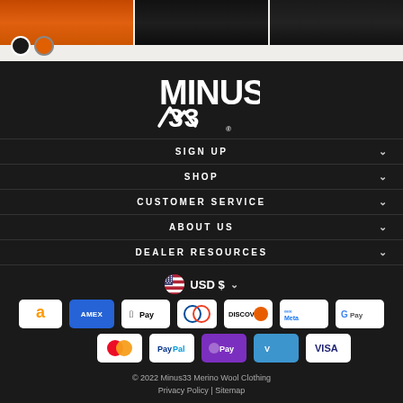[Figure (screenshot): Top strip with product images (orange jacket, black apparel, dark clothing) and two color selection dots (black and orange) on a light beige background]
[Figure (logo): Minus33 brand logo in white on dark background]
SIGN UP
SHOP
CUSTOMER SERVICE
ABOUT US
DEALER RESOURCES
USD $
[Figure (other): Payment method icons: Amazon, AMEX, Apple Pay, Diners Club, Discover, Meta Pay, Google Pay, Mastercard, PayPal, OPay, Venmo, Visa]
© 2022 Minus33 Merino Wool Clothing
Privacy Policy | Sitemap